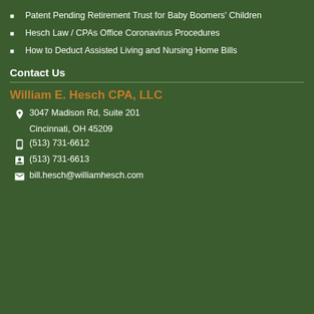Patent Pending Retirement Trust for Baby Boomers' Children
Hesch Law / CPAs Office Coronavirus Procedures
How to Deduct Assisted Living and Nursing Home Bills
Contact Us
William E. Hesch CPA, LLC
3047 Madison Rd, Suite 201
Cincinnati, OH  45209
(513) 731-6612
(513) 731-6613
bill.hesch@williamhesch.com